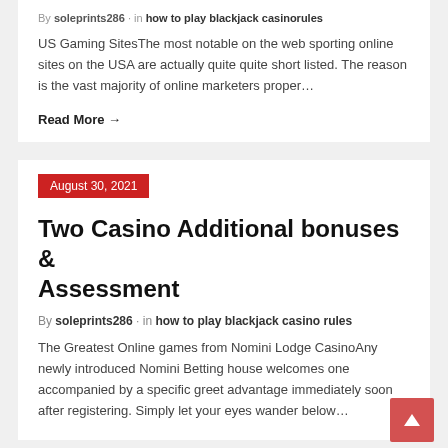By soleprints286 in how to play blackjack casinorules
US Gaming SitesThe most notable on the web sporting online sites on the USA are actually quite quite short listed. The reason is the vast majority of online marketers proper…
Read More →
August 30, 2021
Two Casino Additional bonuses & Assessment
By soleprints286 in how to play blackjack casino rules
The Greatest Online games from Nomini Lodge CasinoAny newly introduced Nomini Betting house welcomes one accompanied by a specific greet advantage immediately soon after registering. Simply let your eyes wander below…